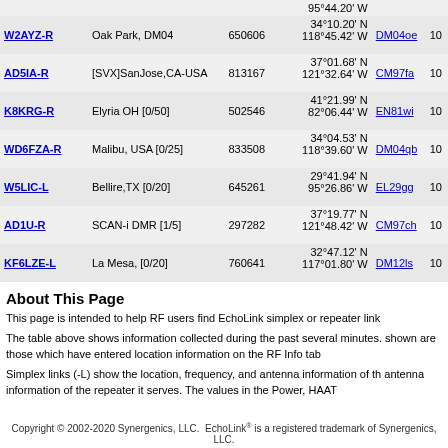| Callsign | Location | Node | Coordinates | Grid |  |
| --- | --- | --- | --- | --- | --- |
|  |  |  | 95°44.20' W |  |  |
| W2AYZ-R | Oak Park, DM04 | 650606 | 34°10.20' N
118°45.42' W | DM04oe | 10 |
| AD5IA-R | [SVX]SanJose,CA-USA | 813167 | 37°01.68' N
121°32.64' W | CM97fa | 10 |
| K8KRG-R | Elyria OH [0/50] | 502546 | 41°21.99' N
82°06.44' W | EN81wi | 10 |
| WD6FZA-R | Malibu, USA [0/25] | 833508 | 34°04.53' N
118°39.60' W | DM04qb | 10 |
| W5LIC-L | Bellire,TX [0/20] | 645261 | 29°41.94' N
95°26.86' W | EL29gg | 10 |
| AD1U-R | SCAN-i DMR [1/5] | 297282 | 37°19.77' N
121°48.42' W | CM97ch | 10 |
| KF6LZE-L | La Mesa, [0/20] | 760641 | 32°47.12' N
117°01.80' W | DM12ls | 10 |
About This Page
This page is intended to help RF users find EchoLink simplex or repeater link
The table above shows information collected during the past several minutes. shown are those which have entered location information on the RF Info tab
Simplex links (-L) show the location, frequency, and antenna information of th antenna information of the repeater it serves. The values in the Power, HAAT
Copyright © 2002-2020 Synergenics, LLC.  EchoLink® is a registered trademark of Synergenics, LLC.